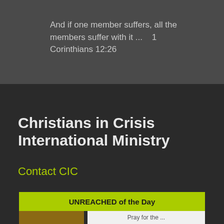And if one member suffers, all the members suffer with it ...    1 Corinthians 12:26
Christians in Crisis International Ministry
Contact CIC
UNREACHED of the Day
Pray for the ...